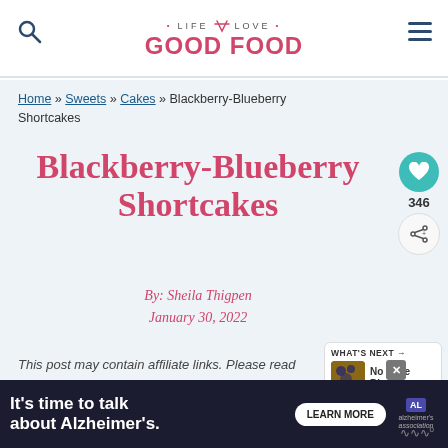Life Love Good Food — site header with logo, search icon, and menu icon
Home » Sweets » Cakes » Blackberry-Blueberry Shortcakes
Blackberry-Blueberry Shortcakes
By: Sheila Thigpen
January 30, 2022
WHAT'S NEXT → No Bake Blueberry...
This post may contain affiliate links. Please read
[Figure (infographic): Advertisement banner: It's time to talk about Alzheimer's. Learn More button. Alzheimer's Association logo.]